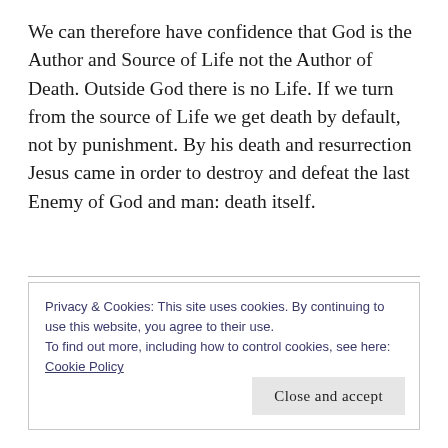We can therefore have confidence that God is the Author and Source of Life not the Author of Death. Outside God there is no Life. If we turn from the source of Life we get death by default, not by punishment. By his death and resurrection Jesus came in order to destroy and defeat the last Enemy of God and man: death itself.
Privacy & Cookies: This site uses cookies. By continuing to use this website, you agree to their use.
To find out more, including how to control cookies, see here: Cookie Policy
Close and accept